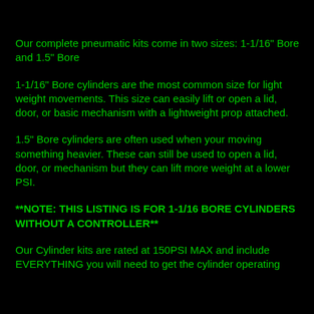Our complete pneumatic kits come in two sizes: 1-1/16" Bore and 1.5" Bore
1-1/16" Bore cylinders are the most common size for light weight movements. This size can easily lift or open a lid, door, or basic mechanism with a lightweight prop attached.
1.5" Bore cylinders are often used when your moving something heavier. These can still be used to open a lid, door, or mechanism but they can lift more weight at a lower PSI.
**NOTE: THIS LISTING IS FOR 1-1/16 BORE CYLINDERS WITHOUT A CONTROLLER**
Our Cylinder kits are rated at 150PSI MAX and include EVERYTHING you will need to get the cylinder operating